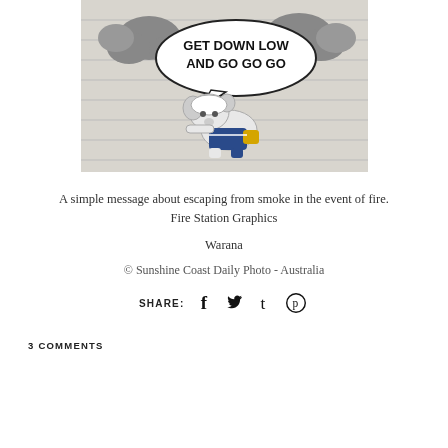[Figure (photo): A mural painted on a fire station roller door showing a cartoon koala or elephant character in a blue uniform crawling low, with a speech bubble reading 'GET DOWN LOW AND GO GO GO' and dark smoke clouds in the background.]
A simple message about escaping from smoke in the event of fire. Fire Station Graphics
Warana
© Sunshine Coast Daily Photo - Australia
SHARE:
3 COMMENTS